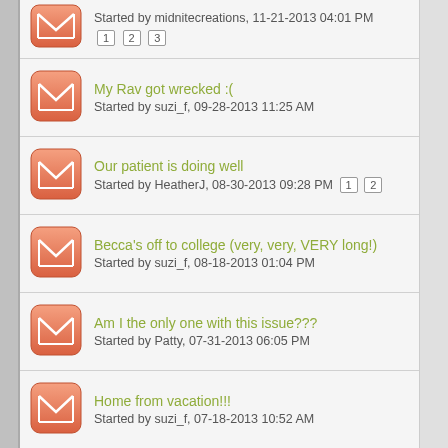Started by midnitecreations, 11-21-2013 04:01 PM | pages: 1 2 3
My Rav got wrecked :( | Started by suzi_f, 09-28-2013 11:25 AM
Our patient is doing well | Started by HeatherJ, 08-30-2013 09:28 PM | pages: 1 2
Becca's off to college (very, very, VERY long!) | Started by suzi_f, 08-18-2013 01:04 PM
Am I the only one with this issue??? | Started by Patty, 07-31-2013 06:05 PM
Home from vacation!!! | Started by suzi_f, 07-18-2013 10:52 AM
I am so happy!!!